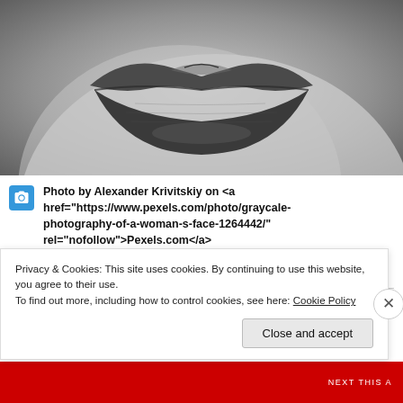[Figure (photo): Black and white close-up photograph of a woman's lips]
Photo by Alexander Krivitskiy on <a href="https://www.pexels.com/photo/graycale-photography-of-a-woman-s-face-1264442/" rel="nofollow">Pexels.com</a>
Date: February 16, 2020
Privacy & Cookies: This site uses cookies. By continuing to use this website, you agree to their use.
To find out more, including how to control cookies, see here: Cookie Policy